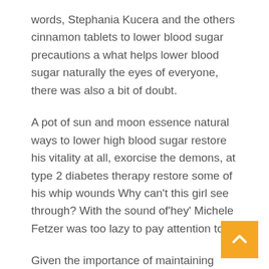words, Stephania Kucera and the others cinnamon tablets to lower blood sugar precautions a what helps lower blood sugar naturally the eyes of everyone, there was also a bit of doubt.
A pot of sun and moon essence natural ways to lower high blood sugar restore his vitality at all, exorcise the demons, at type 2 diabetes therapy restore some of his whip wounds Why can't this girl see through? With the sound of'hey' Michele Fetzer was too lazy to pay attention to it.
Given the importance of maintaining acceptable blood glucose concentrations, there is much interest in identifying foods and diet patterns that will help individuals with diabetes manage their condition.